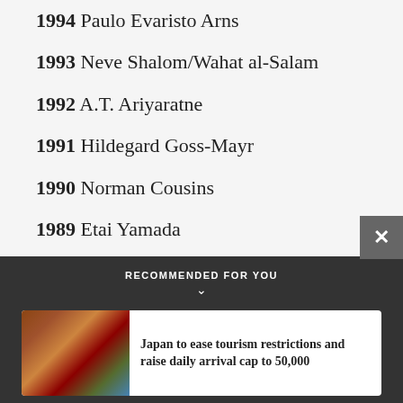1994 Paulo Evaristo Arns
1993 Neve Shalom/Wahat al-Salam
1992 A.T. Ariyaratne
1991 Hildegard Goss-Mayr
1990 Norman Cousins
1989 Etai Yamada
RECOMMENDED FOR YOU
Japan to ease tourism restrictions and raise daily arrival cap to 50,000